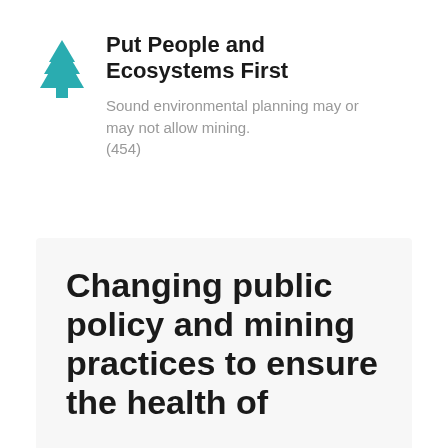[Figure (illustration): Teal/cyan tree icon (evergreen/pine)]
Put People and Ecosystems First
Sound environmental planning may or may not allow mining. (454)
Changing public policy and mining practices to ensure the health of